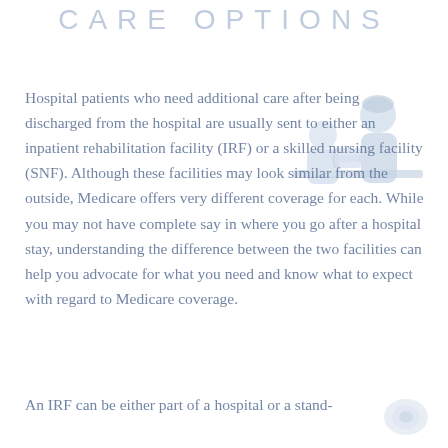CARE OPTIONS
[Figure (illustration): Illustration of a healthcare professional assisting a seated patient, light blue tones]
Hospital patients who need additional care after being discharged from the hospital are usually sent to either an inpatient rehabilitation facility (IRF) or a skilled nursing facility (SNF). Although these facilities may look similar from the outside, Medicare offers very different coverage for each. While you may not have complete say in where you go after a hospital stay, understanding the difference between the two facilities can help you advocate for what you need and know what to expect with regard to Medicare coverage.
An IRF can be either part of a hospital or a stand-
[Figure (logo): Small logo mark in bottom right corner, muted blue/gray tones]